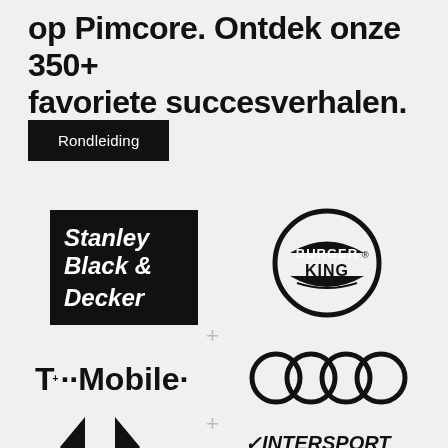op Pimcore. Ontdek onze 350+ favoriete succesverhalen.
Rondleiding
[Figure (logo): Stanley Black & Decker logo — white italic bold text on black background]
[Figure (logo): Burger King logo — circular black and white logo]
[Figure (logo): T-Mobile logo — black T with dots and Mobile text]
[Figure (logo): Audi logo — four interlocking rings in black]
[Figure (logo): Carrefour logo — black diamond/arrow chevron logo]
[Figure (logo): Intersport logo — black italic bold text with checkmark]